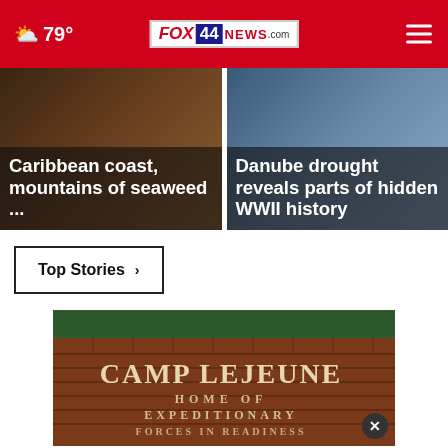79° FOX 44 NEWS.com
Caribbean coast, mountains of seaweed ...
Danube drought reveals parts of hidden WWII history
Top Stories ›
[Figure (photo): Camp Lejeune entrance sign on brick wall reading CAMP LEJEUNE HOME OF EXPEDITIONARY FORCES IN READINESS]
THESHELTERPETPROJECT.ORG
Camp Lejeune Families Finally Eligible...